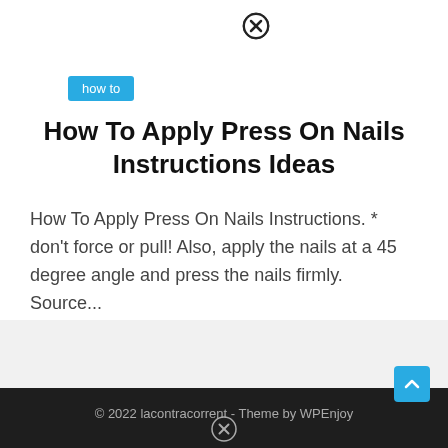[Figure (other): Close/X icon circle at top center]
how to
How To Apply Press On Nails Instructions Ideas
How To Apply Press On Nails Instructions. * don't force or pull! Also, apply the nails at a 45 degree angle and press the nails firmly. Source...
1  2  ...  11  Next
© 2022 lacontracorrent - Theme by WPEnjoy